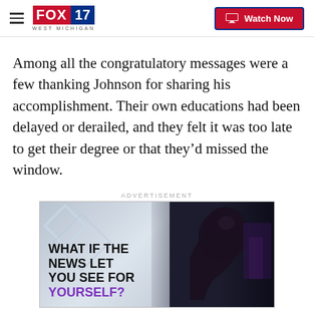FOX 17 WEST MICHIGAN | Watch Now
Among all the congratulatory messages were a few thanking Johnson for sharing his accomplishment. Their own educations had been delayed or derailed, and they felt it was too late to get their degree or that they’d missed the window.
ADVERTISEMENT
[Figure (photo): Advertisement image showing a person in profile silhouette against a dark background with text: WHAT IF THE NEWS LET YOU SEE FOR YOURSELF?]